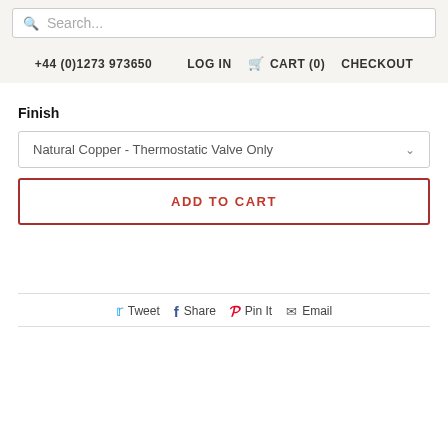Search... | +44 (0)1273 973650 | LOG IN | CART (0) | CHECKOUT
Finish
Natural Copper - Thermostatic Valve Only
ADD TO CART
Tweet  Share  Pin It  Email